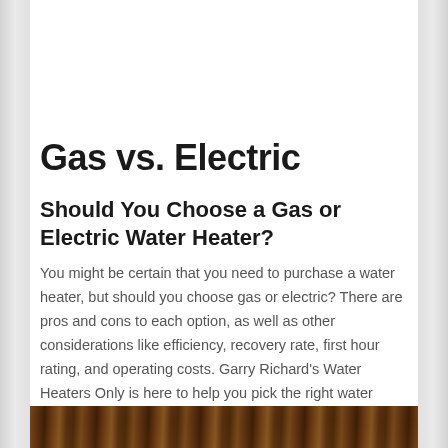Gas vs. Electric
Should You Choose a Gas or Electric Water Heater?
You might be certain that you need to purchase a water heater, but should you choose gas or electric? There are pros and cons to each option, as well as other considerations like efficiency, recovery rate, first hour rating, and operating costs. Garry Richard's Water Heaters Only is here to help you pick the right water heater for your requirements.
[Figure (photo): Bottom strip showing a close-up photo of a water heater or related appliance with warm brown tones]